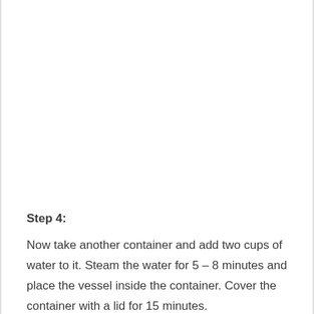Step 4:
Now take another container and add two cups of water to it. Steam the water for 5 – 8 minutes and place the vessel inside the container. Cover the container with a lid for 15 minutes.